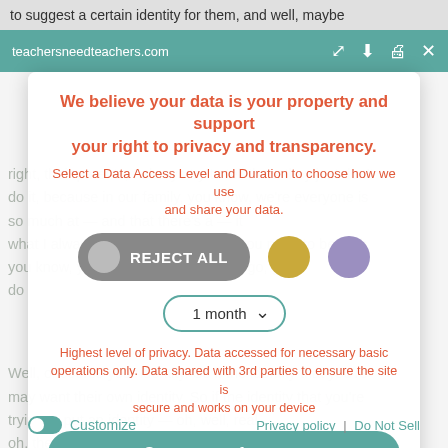to suggest a certain identity for them, and well, maybe
teachersneedteachers.com
We believe your data is your property and support your right to privacy and transparency.
Select a Data Access Level and Duration to choose how we use and share your data.
REJECT ALL
1 month
Highest level of privacy. Data accessed for necessary basic operations only. Data shared with 3rd parties to ensure the site is secure and works on your device
Save my preferences
Customize
Privacy policy | Do Not Sell